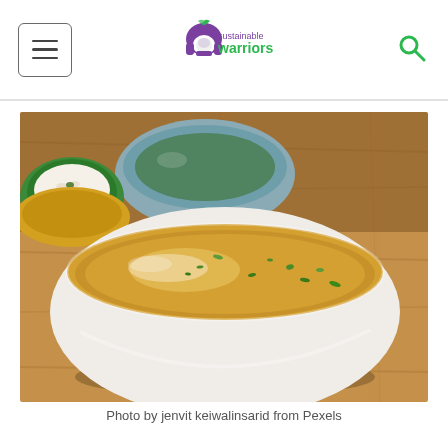Sustainable Warriors — navigation header with hamburger menu and search icon
[Figure (photo): A white bowl of golden broth soup garnished with chopped green onions, on a wooden table. In the background are a small blue bowl of soup and a small green bowl with rice and toppings.]
Photo by jenvit keiwalinsarid from Pexels